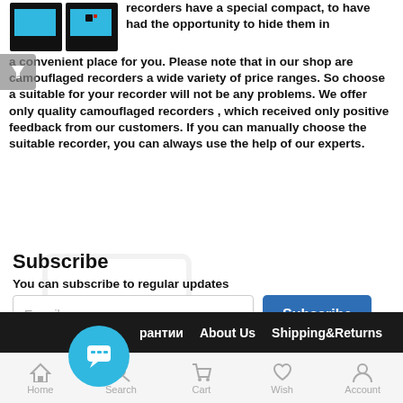[Figure (screenshot): Product images of camouflaged recorders shown at top left]
recorders have a special compact, to have had the opportunity to hide them in a convenient place for you. Please note that in our shop are camouflaged recorders a wide variety of price ranges. So choose a suitable for your recorder will not be any problems. We offer only quality camouflaged recorders , which received only positive feedback from our customers. If you can manually choose the suitable recorder, you can always use the help of our experts.
Subscribe
You can subscribe to regular updates
E-mail
Subscribe
рантии  About Us  Shipping&Returns
Home  Search  Cart  Wish  Account